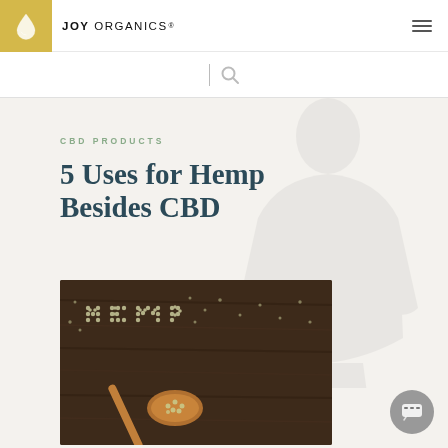JOY ORGANICS
CBD PRODUCTS
5 Uses for Hemp Besides CBD
[Figure (photo): Overhead photo of hemp seeds spelling 'HEMP' on a dark wooden surface, with a wooden spoon filled with hemp seeds in the foreground]